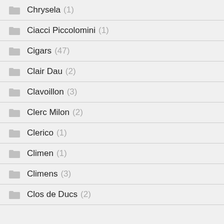Chrysela (1)
Ciacci Piccolomini (1)
Cigars (47)
Clair Dau (2)
Clavoillon (3)
Clerc Milon (2)
Clerico (1)
Climen (1)
Climens (3)
Clos de Ducs (2)